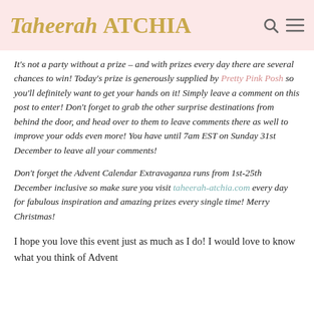Taheerah ATCHIA
It's not a party without a prize – and with prizes every day there are several chances to win! Today's prize is generously supplied by Pretty Pink Posh so you'll definitely want to get your hands on it! Simply leave a comment on this post to enter! Don't forget to grab the other surprise destinations from behind the door, and head over to them to leave comments there as well to improve your odds even more! You have until 7am EST on Sunday 31st December to leave all your comments!
Don't forget the Advent Calendar Extravaganza runs from 1st-25th December inclusive so make sure you visit taheerah-atchia.com every day for fabulous inspiration and amazing prizes every single time! Merry Christmas!
I hope you love this event just as much as I do! I would love to know what you think of Advent Calendar Extravaganza and I want to know if you...